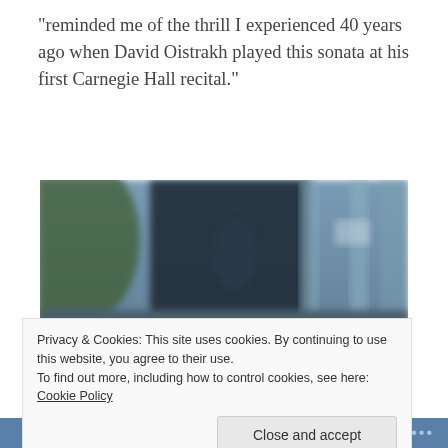“reminded me of the thrill I experienced 40 years ago when David Oistrakh played this sonata at his first Carnegie Hall recital.”
[Figure (photo): A blurred photo of a ceramic/wooden bowl in the foreground with glass doors and an outdoor scene visible in the blurred background.]
Privacy & Cookies: This site uses cookies. By continuing to use this website, you agree to their use.
To find out more, including how to control cookies, see here: Cookie Policy
Follow